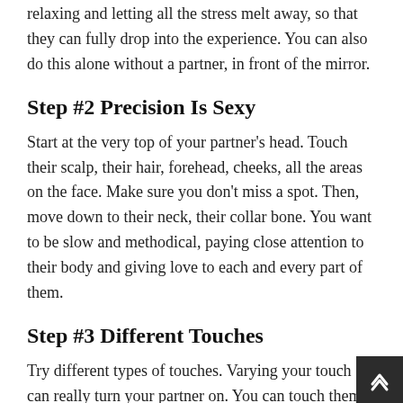relaxing and letting all the stress melt away, so that they can fully drop into the experience. You can also do this alone without a partner, in front of the mirror.
Step #2 Precision Is Sexy
Start at the very top of your partner's head. Touch their scalp, their hair, forehead, cheeks, all the areas on the face. Make sure you don't miss a spot. Then, move down to their neck, their collar bone. You want to be slow and methodical, paying close attention to their body and giving love to each and every part of them.
Step #3 Different Touches
Try different types of touches. Varying your touch can really turn your partner on. You can touch them with a feather, or your fingertips, your hands. Explore every part of your partner's body and see what they